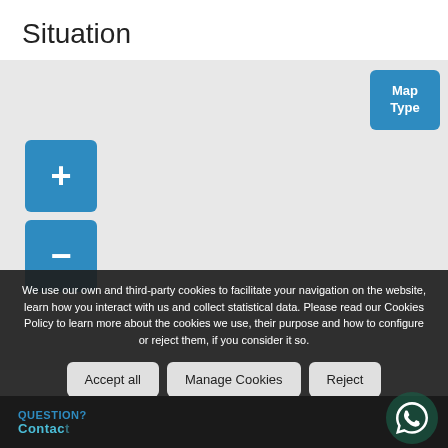Situation
[Figure (map): Interactive map area with zoom controls (+/-) and Map Type button in the top right corner]
We use our own and third-party cookies to facilitate your navigation on the website, learn how you interact with us and collect statistical data. Please read our Cookies Policy to learn more about the cookies we use, their purpose and how to configure or reject them, if you consider it so.
Accept all | Manage Cookies | Reject
QUESTION? Contact